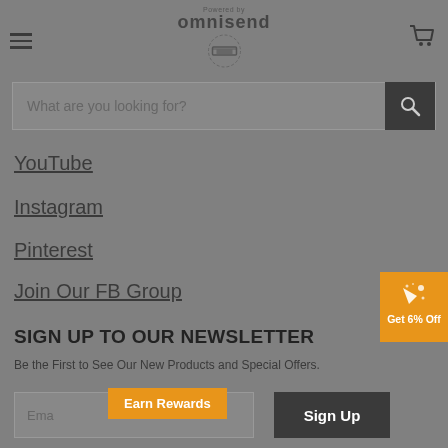Powered by omnisend
What are you looking for?
YouTube
Instagram
Pinterest
Join Our FB Group
SIGN UP TO OUR NEWSLETTER
Be the First to See Our New Products and Special Offers.
Earn Rewards
Sign Up
Get 6% Off